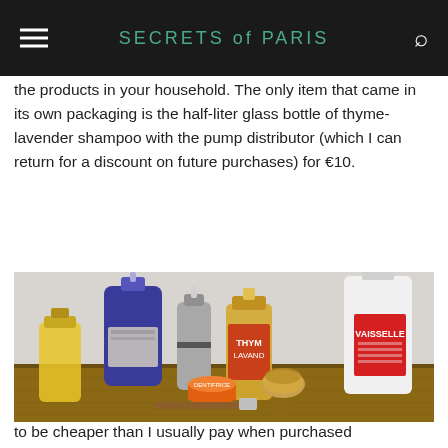SECRETS of PARIS
the products in your household. The only item that came in its own packaging is the half-liter glass bottle of thyme-lavender shampoo with the pump distributor (which I can return for a discount on future purchases) for €10.
[Figure (photo): Photo of various household and personal care products arranged on a wooden surface: a yellow liquid in a glass bottle (left), a large dark blue glass shampoo bottle with pump, a silver spray bottle, a glass bottle of thyme-lavender shampoo with orange label, a round tin of orange product, a wooden-handled razor, a natural bristle brush, and a large white plastic bottle labeled VAISSELLE.]
to be cheaper than I usually pay when purchased